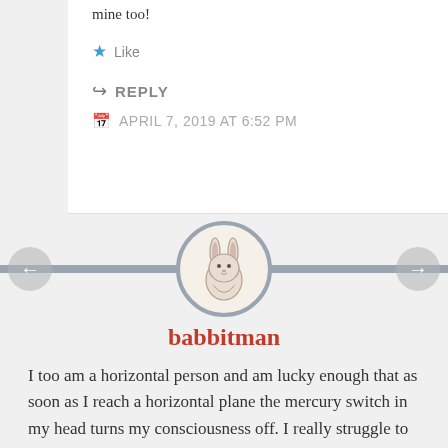mine too!
★ Like
↪ REPLY
APRIL 7, 2019 AT 6:52 PM
[Figure (illustration): Circular avatar with a hand-drawn bunny rabbit illustration, grey border]
babbitman
I too am a horizontal person and am lucky enough that as soon as I reach a horizontal plane the mercury switch in my head turns my consciousness off. I really struggle to stay awake if I'm lying down and any pillow talk I have with my wife quickly